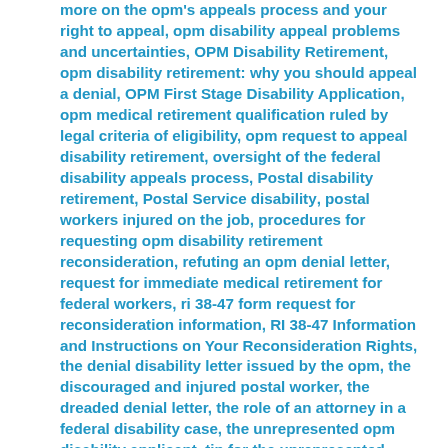more on the opm's appeals process and your right to appeal, opm disability appeal problems and uncertainties, OPM Disability Retirement, opm disability retirement: why you should appeal a denial, OPM First Stage Disability Application, opm medical retirement qualification ruled by legal criteria of eligibility, opm request to appeal disability retirement, oversight of the federal disability appeals process, Postal disability retirement, Postal Service disability, postal workers injured on the job, procedures for requesting opm disability retirement reconsideration, refuting an opm denial letter, request for immediate medical retirement for federal workers, ri 38-47 form request for reconsideration information, RI 38-47 Information and Instructions on Your Reconsideration Rights, the denial disability letter issued by the opm, the discouraged and injured postal worker, the dreaded denial letter, the role of an attorney in a federal disability case, the unrepresented opm disability applicant, tip for the unrepresented opm disability applicant: never give up, uncertainty and stress in the wait to get fers csrs disability, us government employee disability benefits, us postal service disability retirement, usps disability benefits, USPS disability retirement, usps immediate disability retirement, what to do if the opm denies your disability, when opm disability retirement is denied, when